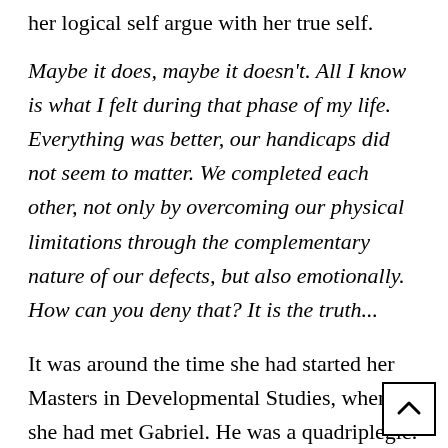her logical self argue with her true self.
Maybe it does, maybe it doesn't. All I know is what I felt during that phase of my life. Everything was better, our handicaps did not seem to matter. We completed each other, not only by overcoming our physical limitations through the complementary nature of our defects, but also emotionally. How can you deny that? It is the truth...
It was around the time she had started her Masters in Developmental Studies, when she had met Gabriel. He was a quadriplegic. He had b[een injured] in a war, in his country. “We had many wars back